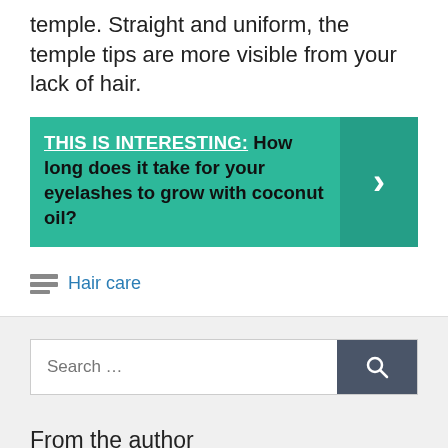temple. Straight and uniform, the temple tips are more visible from your lack of hair.
[Figure (infographic): Teal banner with label 'THIS IS INTERESTING:' followed by bold text 'How long does it take for your eyelashes to grow with coconut oil?' and a right-arrow chevron in a darker teal box on the right.]
Hair care
[Figure (other): Search bar with placeholder 'Search ...' and a dark grey search button with magnifying glass icon.]
From the author